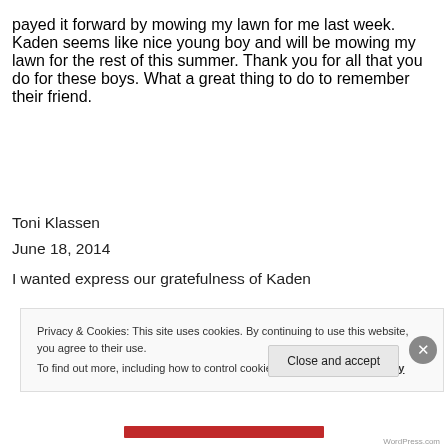payed it forward by mowing my lawn for me last week. Kaden seems like nice young boy and will be mowing my lawn for the rest of this summer. Thank you for all that you do for these boys. What a great thing to do to remember their friend.
Toni Klassen
June 18, 2014
I wanted express our gratefulness of Kaden
Privacy & Cookies: This site uses cookies. By continuing to use this website, you agree to their use. To find out more, including how to control cookies, see here: Cookie Policy